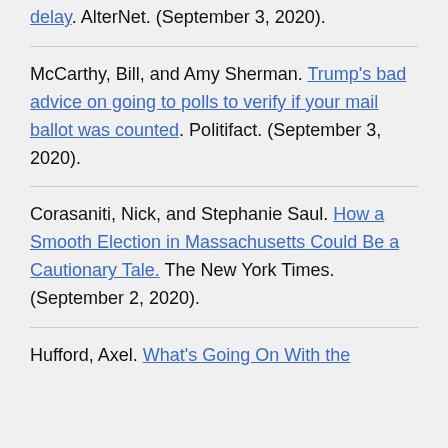delay. AlterNet. (September 3, 2020).
McCarthy, Bill, and Amy Sherman. Trump's bad advice on going to polls to verify if your mail ballot was counted. Politifact. (September 3, 2020).
Corasaniti, Nick, and Stephanie Saul. How a Smooth Election in Massachusetts Could Be a Cautionary Tale. The New York Times. (September 2, 2020).
Hufford, Axel. What's Going On With the